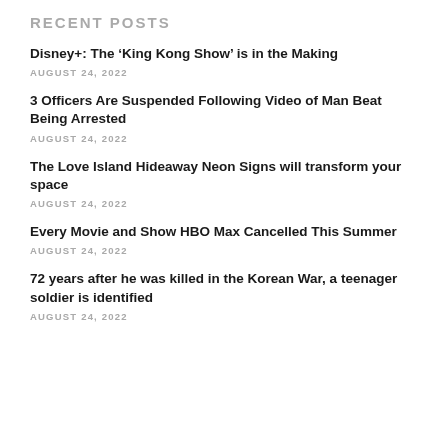RECENT POSTS
Disney+: The ‘King Kong Show’ is in the Making
AUGUST 24, 2022
3 Officers Are Suspended Following Video of Man Beat Being Arrested
AUGUST 24, 2022
The Love Island Hideaway Neon Signs will transform your space
AUGUST 24, 2022
Every Movie and Show HBO Max Cancelled This Summer
AUGUST 24, 2022
72 years after he was killed in the Korean War, a teenager soldier is identified
AUGUST 24, 2022